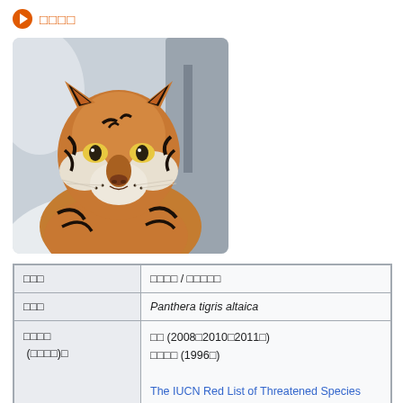◉ □□□□
[Figure (photo): Close-up photograph of a Siberian (Amur) tiger resting in snow, facing the camera, with orange fur and black stripes, snowy background.]
| □□□ | □□□□ / □□□□□ |
| □□□ | Panthera tigris altaica |
| □□□□ (□□□□)□ | □□ (2008□2010□2011□)
□□□□ (1996□)

The IUCN Red List of Threatened Species 2011: e.T15956A5333650. Downloaded on 25 April 2017. |